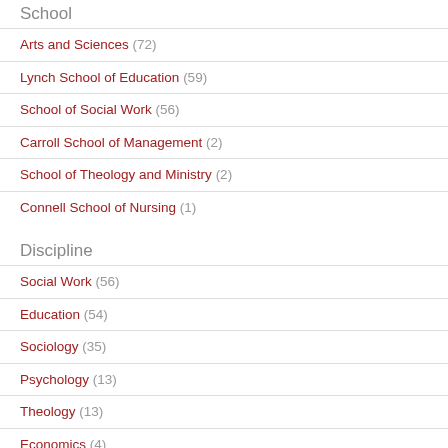School
Arts and Sciences (72)
Lynch School of Education (59)
School of Social Work (56)
Carroll School of Management (2)
School of Theology and Ministry (2)
Connell School of Nursing (1)
Discipline
Social Work (56)
Education (54)
Sociology (35)
Psychology (13)
Theology (13)
Economics (4)
Show more
Center